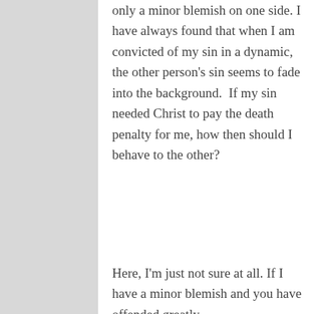only a minor blemish on one side. I have always found that when I am convicted of my sin in a dynamic, the other person's sin seems to fade into the background.  If my sin needed Christ to pay the death penalty for me, how then should I behave to the other?
Here, I'm just not sure at all. If I have a minor blemish and you have offended greatly,